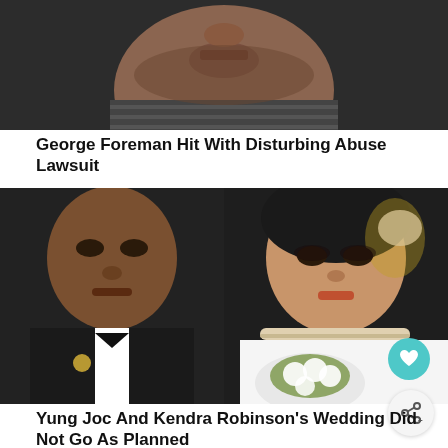[Figure (photo): Close-up of a man's face and lower chin area, dark background]
George Foreman Hit With Disturbing Abuse Lawsuit
[Figure (photo): Wedding photo: man in tuxedo on left, woman in wedding dress holding flowers on right]
Yung Joc And Kendra Robinson's Wedding Did Not Go As Planned